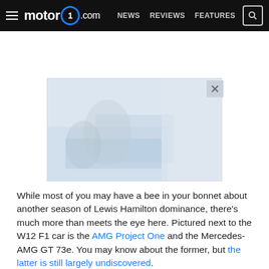motor1.com — NEWS  REVIEWS  FEATURES
[Figure (photo): A faded/loading advertisement or photo placeholder image with an X close button in the top right corner]
While most of you may have a bee in your bonnet about another season of Lewis Hamilton dominance, there's much more than meets the eye here. Pictured next to the W12 F1 car is the AMG Project One and the Mercedes-AMG GT 73e. You may know about the former, but the latter is still largely undiscovered.